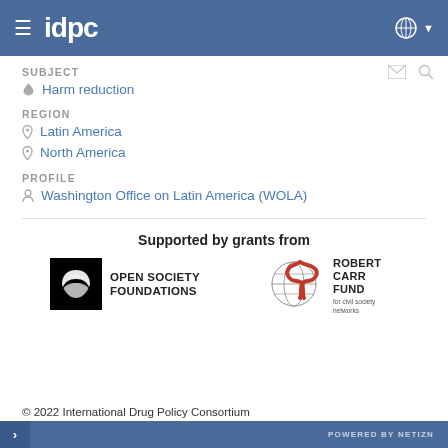[Figure (logo): IDPC header bar with hamburger menu icon, idpc logo in white, and globe icon with dropdown arrow on the right]
SUBJECT
Harm reduction
REGION
Latin America
North America
PROFILE
Washington Office on Latin America (WOLA)
Supported by grants from
[Figure (logo): Open Society Foundations logo — black square with spiral graphic and bold uppercase text OPEN SOCIETY FOUNDATIONS]
[Figure (logo): Robert Carr Fund for civil society networks logo — globe with red ribbon and bold uppercase text ROBERT CARR FUND with smaller text 'for civil society networks']
© 2022 International Drug Policy Consortium
POWERED BY NETIZN